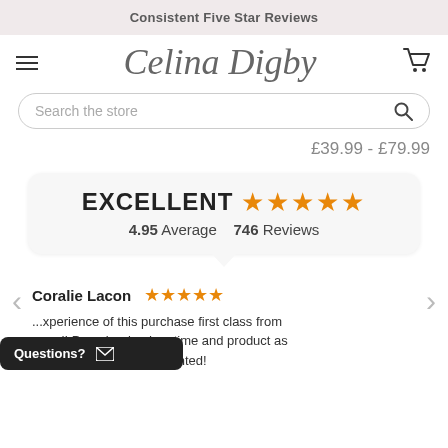Consistent Five Star Reviews
[Figure (logo): Celina Digby cursive brand logo with hamburger menu icon on left and cart icon on right]
Search the store
£39.99 - £79.99
EXCELLENT ★★★★★ 4.95 Average 746 Reviews
Coralie Lacon ★★★★★
...xperience of this purchase first class from ...end! Parcel arrived on time and product as ...excellenty quality. Delighted!
Questions? ✉